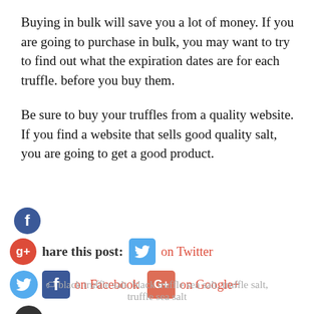Buying in bulk will save you a lot of money. If you are going to purchase in bulk, you may want to try to find out what the expiration dates are for each truffle. before you buy them.
Be sure to buy your truffles from a quality website. If you find a website that sells good quality salt, you are going to get a good product.
[Figure (infographic): Social sharing buttons: Facebook circle icon, Google+ circle icon, Twitter circle icon, Share this post label with Twitter bird icon and 'on Twitter' link, Facebook square icon with 'on Facebook' link, Google+ square icon with 'on Google+' link, dark circle with plus icon]
black truffle salt, black truffle sea salt, truffle salt, truffle sea salt